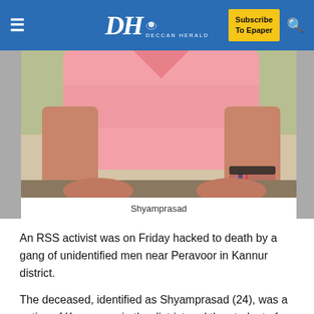DH DECCAN HERALD | Subscribe To Epaper
[Figure (photo): Photo of Shyamprasad, a young man wearing a pink shirt, with a bracelet on his wrist, seated outdoors]
Shyamprasad
An RSS activist was on Friday hacked to death by a gang of unidentified men near Peravoor in Kannur district.
The deceased, identified as Shyamprasad (24), was a native of Kannavam in the district and the student of an Indian Technical Institute in Kakkayangad. Four men have been